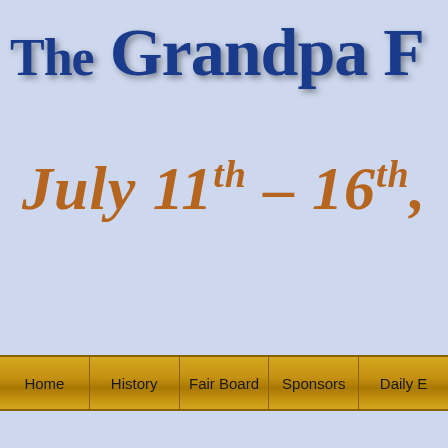The Grandpa F[air]
July 11th – 16th,
[Figure (screenshot): Navigation bar with golden gradient background containing menu items: Home, History, Fair Board, Sponsors, Daily [Events]]